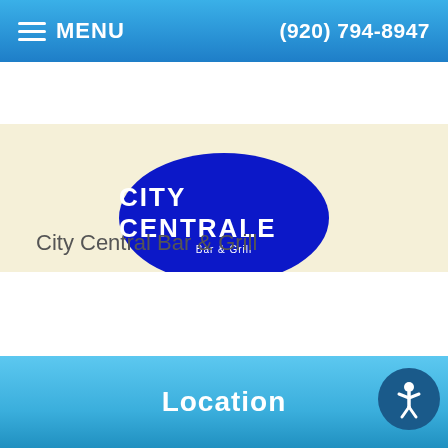MENU   (920) 794-8947
[Figure (logo): City Central Bar & Grill circular blue logo with white text reading CITY CENTRALE Bar & Grill]
City Central Bar & Grill
Location